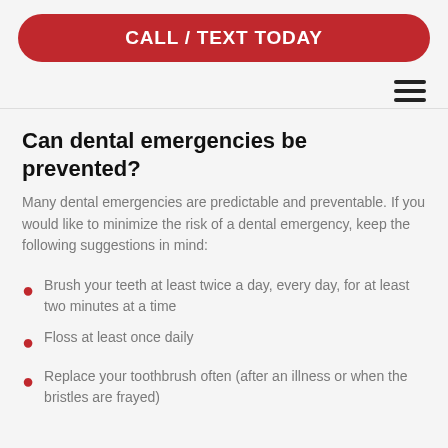CALL / TEXT TODAY
Can dental emergencies be prevented?
Many dental emergencies are predictable and preventable. If you would like to minimize the risk of a dental emergency, keep the following suggestions in mind:
Brush your teeth at least twice a day, every day, for at least two minutes at a time
Floss at least once daily
Replace your toothbrush often (after an illness or when the bristles are frayed)